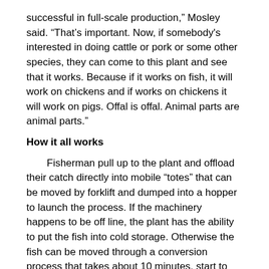successful in full-scale production," Mosley said. "That's important. Now, if somebody's interested in doing cattle or pork or some other species, they can come to this plant and see that it works. Because if it works on fish, it will work on chickens and if works on chickens it will work on pigs. Offal is offal. Animal parts are animal parts."
How it all works
Fisherman pull up to the plant and offload their catch directly into mobile “totes” that can be moved by forklift and dumped into a hopper to launch the process. If the machinery happens to be off line, the plant has the ability to put the fish into cold storage. Otherwise the fish can be moved through a conversion process that takes about 10 minutes, start to finish.
The hopper is hydraulically lifted onto a sealed conveyor where fish are transported to a breaker, the first step in the pulverizing process. Then, it's on to a grinder that converts the fish into something that looks like raw hamburger.
From there it goes to a mixer, where a reagent and some dry, finished fish meal product are added to the wet mush to dry it enough so it can be transported through the rest of the system in